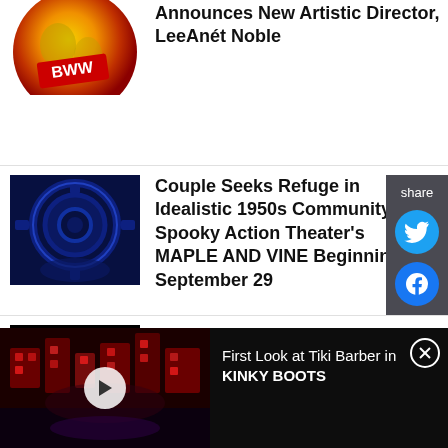[Figure (photo): BWW globe logo partially visible at top]
Announces New Artistic Director, LeeAnét Noble
[Figure (photo): Dark blue mechanical/theatrical stage machinery image]
Couple Seeks Refuge in Idealistic 1950s Community in Spooky Action Theater's MAPLE AND VINE Beginning September 29
[Figure (logo): Studio Theatre black logo with white STUDIO text]
Cast Announced for HEROES OF THE FOURTH TURNING at Studio Theatre
[Figure (screenshot): Video banner: First Look at Tiki Barber in KINKY BOOTS, dark stage with red lighting, play button visible]